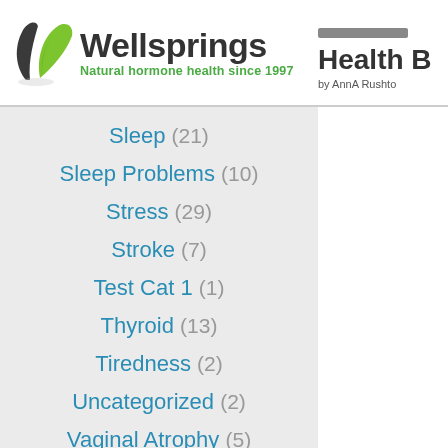[Figure (logo): Wellsprings logo with green leaf icon and tagline 'Natural hormone health since 1997']
[Figure (logo): Health book cover partial - 'Health B... by AnnA Rushto...']
Sleep (21)
Sleep Problems (10)
Stress (29)
Stroke (7)
Test Cat 1 (1)
Thyroid (13)
Tiredness (2)
Uncategorized (2)
Vaginal Atrophy (5)